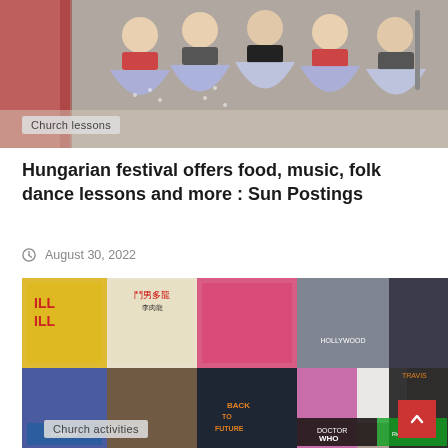[Figure (photo): Group of women in folk costumes standing on a stage, wearing blue and white skirts with red accents]
Church lessons
Hungarian festival offers food, music, folk dance lessons and more : Sun Postings
August 30, 2022
[Figure (photo): Collage of movie and TV posters including Kill Bill, Bruce Lee film, Hollywood, Back to the Future, Doctor Who, Rick and Morty, Friends, and others]
Church activities